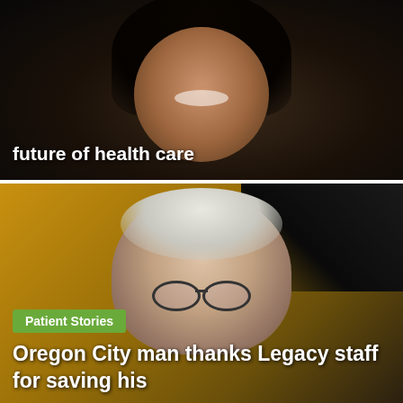[Figure (photo): Photo of a woman with dark hair smiling, dark background, used as background for article card about Legacy CNO talking about the future of health care]
future of health care
[Figure (photo): Photo of an older man with white/gray hair wearing glasses, smiling, against a golden/yellow background, used as background for patient story article card]
Patient Stories
Oregon City man thanks Legacy staff for saving his